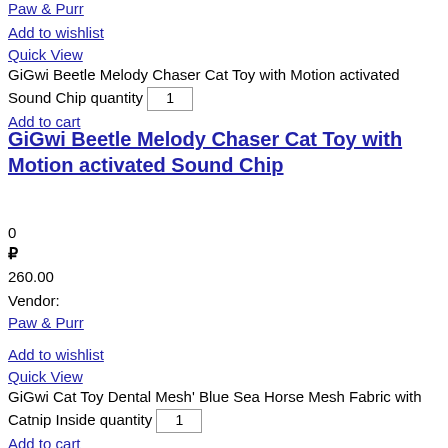Paw & Purr
Add to wishlist
Quick View
GiGwi Beetle Melody Chaser Cat Toy with Motion activated Sound Chip quantity 1 Add to cart
GiGwi Beetle Melody Chaser Cat Toy with Motion activated Sound Chip
0
₽
260.00
Vendor:
Paw & Purr
Add to wishlist
Quick View
GiGwi Cat Toy Dental Mesh' Blue Sea Horse Mesh Fabric with Catnip Inside quantity 1 Add to cart
GiGwi Cat Toy Dental Mesh' Blue Sea Horse Mesh Fabric with Catnip Inside